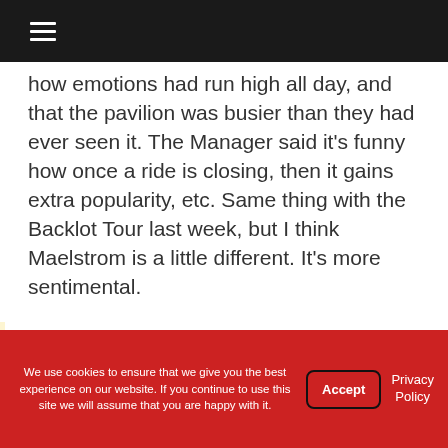how emotions had run high all day, and that the pavilion was busier than they had ever seen it. The Manager said it's funny how once a ride is closing, then it gains extra popularity, etc. Same thing with the Backlot Tour last week, but I think Maelstrom is a little different. It's more sentimental.
We use cookies to ensure that we give you the best experience on our website. If you continue to use this site we will assume that you are happy with it. Accept Privacy Policy